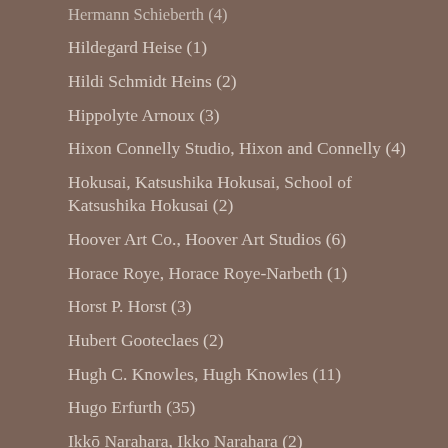Hermann Schieberth (4)
Hildegard Heise (1)
Hildi Schmidt Heins (2)
Hippolyte Arnoux (3)
Hixon Connelly Studio, Hixon and Connelly (4)
Hokusai, Katsushika Hokusai, School of Katsushika Hokusai (2)
Hoover Art Co., Hoover Art Studios (6)
Horace Roye, Horace Roye-Narbeth (1)
Horst P. Horst (3)
Hubert Gooteclaes (2)
Hugh C. Knowles, Hugh Knowles (11)
Hugo Erfurth (35)
Ikkō Narahara, Ikko Narahara (2)
illustration, dessin, drawing, etching, drypoint, aquatint,